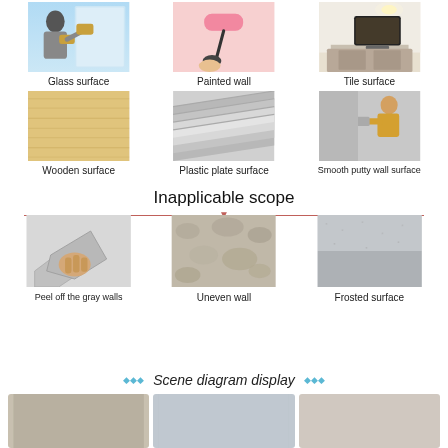[Figure (infographic): Six photos in a 3x2 grid showing applicable surfaces: glass surface, painted wall, tile surface, wooden surface, plastic plate surface, smooth putty wall surface]
Glass surface
Painted wall
Tile surface
Wooden surface
Plastic plate surface
Smooth putty wall surface
Inapplicable scope
[Figure (infographic): Three photos showing inapplicable surfaces: peel off the gray walls, uneven wall, frosted surface]
Peel off the gray walls
Uneven wall
Frosted surface
Scene diagram display
[Figure (photo): Bottom row showing two partial photos of scene diagram display]